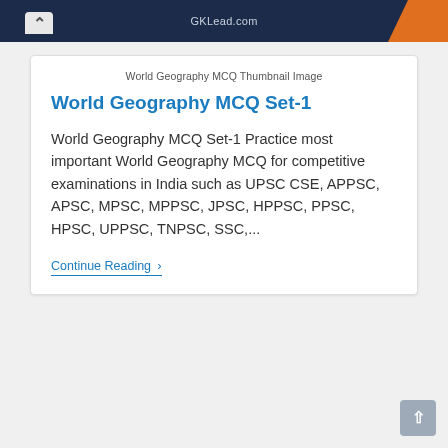GKLead.com
World Geography MCQ Thumbnail Image
World Geography MCQ Set-1
World Geography MCQ Set-1 Practice most important World Geography MCQ for competitive examinations in India such as UPSC CSE, APPSC, APSC, MPSC, MPPSC, JPSC, HPPSC, PPSC, HPSC, UPPSC, TNPSC, SSC,...
Continue Reading ›